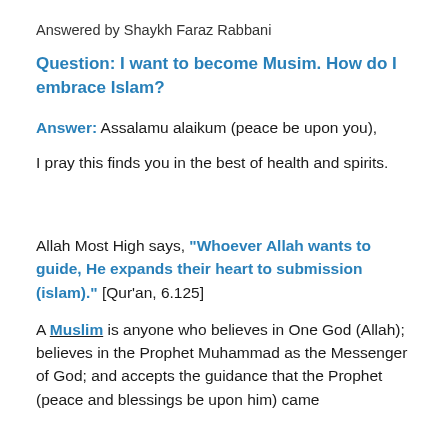Answered by Shaykh Faraz Rabbani
Question: I want to become Musim. How do I embrace Islam?
Answer: Assalamu alaikum (peace be upon you),
I pray this finds you in the best of health and spirits.
Allah Most High says, “Whoever Allah wants to guide, He expands their heart to submission (islam).” [Qur’an, 6.125]
A Muslim is anyone who believes in One God (Allah); believes in the Prophet Muhammad as the Messenger of God; and accepts the guidance that the Prophet (peace and blessings be upon him) came